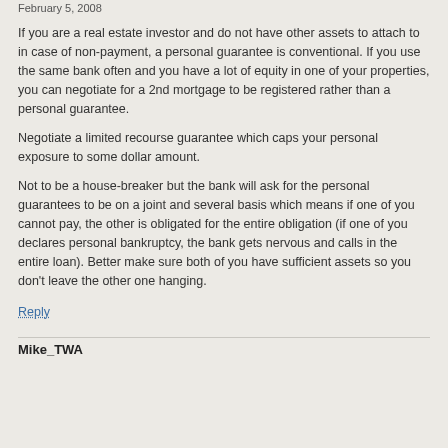February 5, 2008
If you are a real estate investor and do not have other assets to attach to in case of non-payment, a personal guarantee is conventional. If you use the same bank often and you have a lot of equity in one of your properties, you can negotiate for a 2nd mortgage to be registered rather than a personal guarantee.
Negotiate a limited recourse guarantee which caps your personal exposure to some dollar amount.
Not to be a house-breaker but the bank will ask for the personal guarantees to be on a joint and several basis which means if one of you cannot pay, the other is obligated for the entire obligation (if one of you declares personal bankruptcy, the bank gets nervous and calls in the entire loan). Better make sure both of you have sufficient assets so you don't leave the other one hanging.
Reply
Mike_TWA